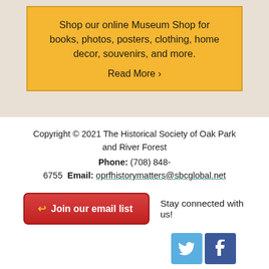Shop our online Museum Shop for books, photos, posters, clothing, home decor, souvenirs, and more.
Read More ›
Copyright © 2021 The Historical Society of Oak Park and River Forest
Phone: (708) 848-6755  Email: oprfhistorymatters@sbcglobal.net
Join our email list
Stay connected with us!
[Figure (illustration): Twitter and Facebook social media icons]